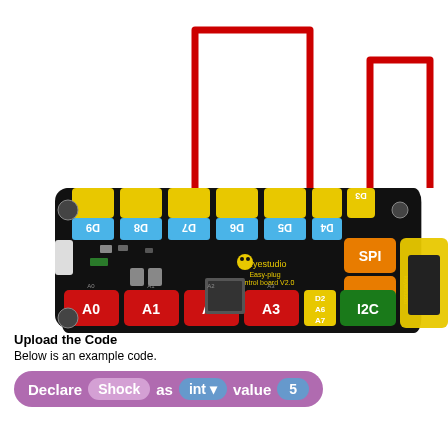[Figure (illustration): Keyestudio Easy-plug Control board V2.0 connected with red wires to a sensor module on the right. The main board is black with colored pin headers: yellow at top (D3-D9), blue labels (D3-D9), red at bottom (A0-A3), orange SPI and COM ports, green I2C port, and yellow/small D2/A6/A7 area. A partial sensor module is visible on the right side connected via red wire routing.]
Upload the Code
Below is an example code.
[Figure (screenshot): Block code snippet showing: Declare Shock as int value 5]